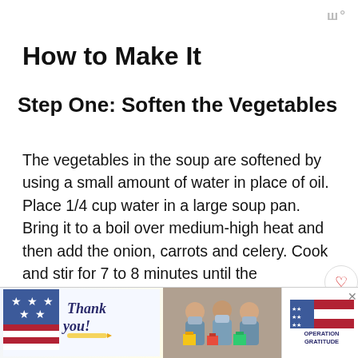ш°
How to Make It
Step One: Soften the Vegetables
The vegetables in the soup are softened by using a small amount of water in place of oil. Place 1/4 cup water in a large soup pan. Bring it to a boil over medium-high heat and then add the onion, carrots and celery. Cook and stir for 7 to 8 minutes until the vegetables are softened.
If you prefer, you can soften the vegetable in se... cooking...
[Figure (infographic): Operation Gratitude advertisement banner with 'Thank you!' text, photo of masked medical workers, and Operation Gratitude logo]
[Figure (infographic): What's Next panel showing a circular thumbnail image with text 'Easy Vegan White Bean...']